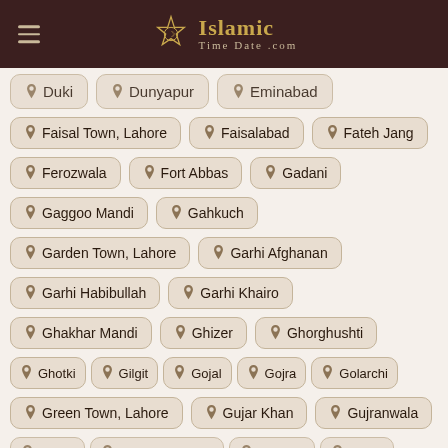IslamicTimeDate.com
Duki
Dunyapur
Eminabad
Faisal Town, Lahore
Faisalabad
Fateh Jang
Ferozwala
Fort Abbas
Gadani
Gaggoo Mandi
Gahkuch
Garden Town, Lahore
Garhi Afghanan
Garhi Habibullah
Garhi Khairo
Ghakhar Mandi
Ghizer
Ghorghushti
Ghotki
Gilgit
Gojal
Gojra
Golarchi
Green Town, Lahore
Gujar Khan
Gujranwala
Gujrat
Gulberg, Lahore
Gwadar
Haala